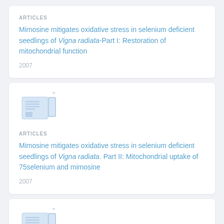ARTICLES
Mimosine mitigates oxidative stress in selenium deficient seedlings of Vigna radiata-Part I: Restoration of mitochondrial function
2007
[Figure (illustration): Document/article icon with a small plus sign]
ARTICLES
Mimosine mitigates oxidative stress in selenium deficient seedlings of Vigna radiata. Part II: Mitochondrial uptake of 75selenium and mimosine
2007
[Figure (illustration): Document/article icon with a small plus sign (partially visible, third card)]